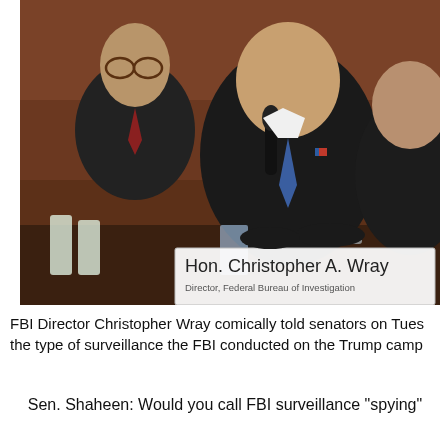[Figure (photo): FBI Director Christopher A. Wray seated at a witness table before senators, with a nameplate reading 'Hon. Christopher A. Wray, Director, Federal Bureau of Investigation'. Two other men are visible behind and beside him.]
FBI Director Christopher Wray comically told senators on Tues the type of surveillance the FBI conducted on the Trump camp
Sen. Shaheen: Would you call FBI surveillance "spying"